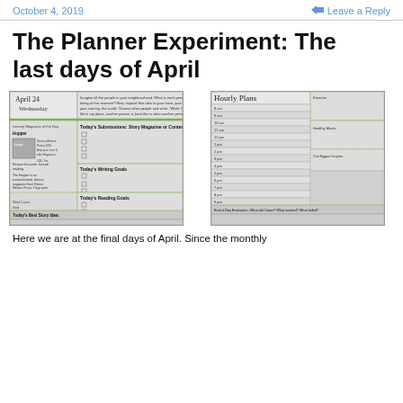October 4, 2019   Leave a Reply
The Planner Experiment: The last days of April
[Figure (photo): Left planner page showing April 24 Wednesday daily planner layout with sections for Today's Submissions Story Magazine or Contest, Today's Writing Goals, Today's Reading Goals, and Today's Best Story Idea]
[Figure (photo): Right planner page showing Hourly Plans layout with time slots from 8am to 9pm, Exercise section, Healthy Meals section, One Biggest Surprise section, and End of Day Evaluation]
Here we are at the final days of April. Since the monthly